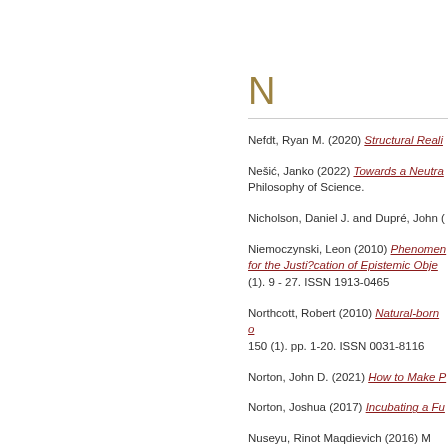N
Nefdt, Ryan M. (2020) Structural Reali...
Nešić, Janko (2022) Towards a Neutra... Philosophy of Science.
Nicholson, Daniel J. and Dupré, John (...
Niemoczynski, Leon (2010) Phenomen... for the Justification of Epistemic Objec... (1). 9 - 27. ISSN 1913-0465
Northcott, Robert (2010) Natural-born c... 150 (1). pp. 1-20. ISSN 0031-8116
Norton, John D. (2021) How to Make P...
Norton, Joshua (2017) Incubating a Fu...
Nuseyu, Rinot Maqdievich (2016) M...